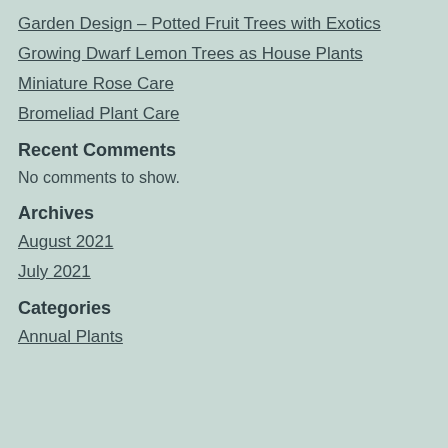Garden Design – Potted Fruit Trees with Exotics
Growing Dwarf Lemon Trees as House Plants
Miniature Rose Care
Bromeliad Plant Care
Recent Comments
No comments to show.
Archives
August 2021
July 2021
Categories
Annual Plants